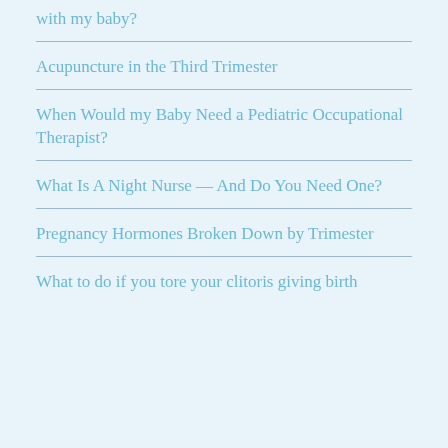with my baby?
Acupuncture in the Third Trimester
When Would my Baby Need a Pediatric Occupational Therapist?
What Is A Night Nurse — And Do You Need One?
Pregnancy Hormones Broken Down by Trimester
What to do if you tore your clitoris giving birth